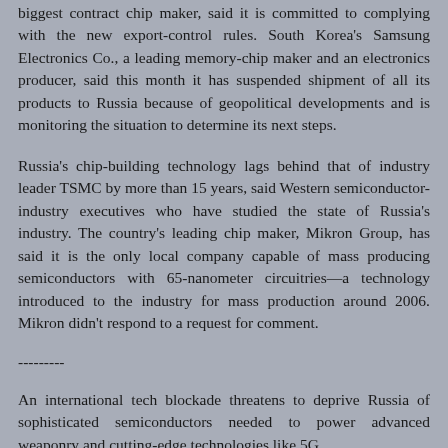biggest contract chip maker, said it is committed to complying with the new export-control rules. South Korea's Samsung Electronics Co., a leading memory-chip maker and an electronics producer, said this month it has suspended shipment of all its products to Russia because of geopolitical developments and is monitoring the situation to determine its next steps.
Russia's chip-building technology lags behind that of industry leader TSMC by more than 15 years, said Western semiconductor-industry executives who have studied the state of Russia's industry. The country's leading chip maker, Mikron Group, has said it is the only local company capable of mass producing semiconductors with 65-nanometer circuitries—a technology introduced to the industry for mass production around 2006. Mikron didn't respond to a request for comment.
---------
An international tech blockade threatens to deprive Russia of sophisticated semiconductors needed to power advanced weaponry and cutting-edge technologies like 5G.